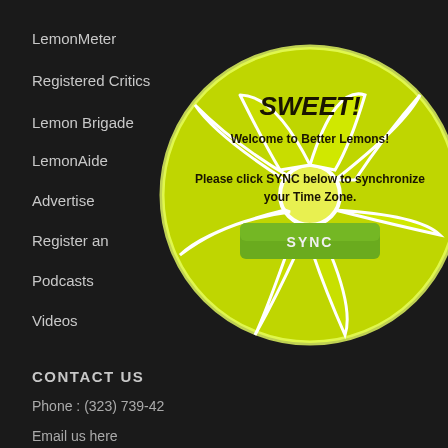LemonMeter
Registered Critics
Lemon Brigade
LemonAide
Advertise
Register an
Podcasts
Videos
CONTACT US
Phone : (323) 739-42
Email us here
[Figure (infographic): Lemon slice popup modal with SWEET! heading, Welcome to Better Lemons! subheading, timezone sync message, and green SYNC button]
[Figure (infographic): Row of social media icons: Facebook, Twitter, YouTube, Instagram, LinkedIn, SoundCloud, Pinterest, Kodi/app, Email]
LEMONAIDE
Hospitality